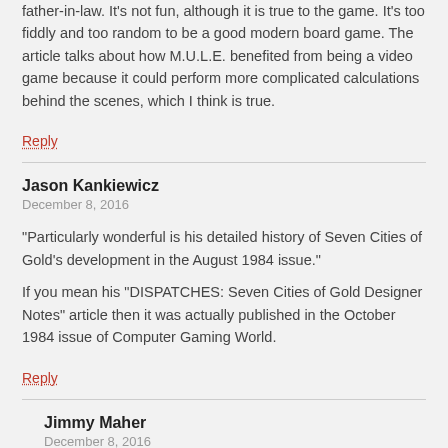father-in-law. It's not fun, although it is true to the game. It's too fiddly and too random to be a good modern board game. The article talks about how M.U.L.E. benefited from being a video game because it could perform more complicated calculations behind the scenes, which I think is true.
Reply
Jason Kankiewicz
December 8, 2016
"Particularly wonderful is his detailed history of Seven Cities of Gold's development in the August 1984 issue."
If you mean his "DISPATCHES: Seven Cities of Gold Designer Notes" article then it was actually published in the October 1984 issue of Computer Gaming World.
Reply
Jimmy Maher
December 8, 2016
Assuming that this comment should have been attached to the Seven Cities of Gold article... thanks!